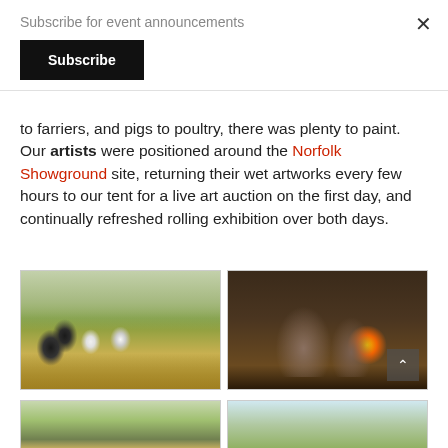Subscribe for event announcements
Subscribe
to farriers, and pigs to poultry, there was plenty to paint. Our artists were positioned around the Norfolk Showground site, returning their wet artworks every few hours to our tent for a live art auction on the first day, and continually refreshed rolling exhibition over both days.
[Figure (photo): Painting of dairy cows in a show tent with hay bales and farm equipment]
[Figure (photo): Painting of blacksmiths working at a forge with fire and flames]
[Figure (photo): Partial view of forest or woodland scene painting]
[Figure (photo): Partial view of outdoor landscape painting]